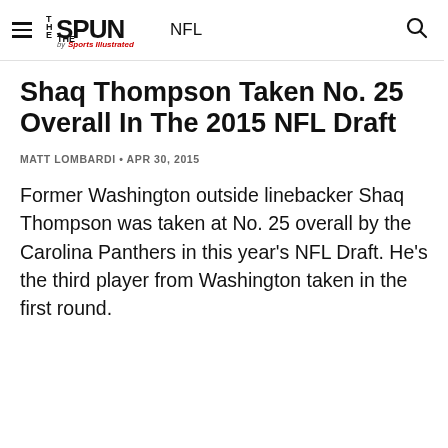THE SPUN by Sports Illustrated · NFL
Shaq Thompson Taken No. 25 Overall In The 2015 NFL Draft
MATT LOMBARDI • APR 30, 2015
Former Washington outside linebacker Shaq Thompson was taken at No. 25 overall by the Carolina Panthers in this year's NFL Draft. He's the third player from Washington taken in the first round.